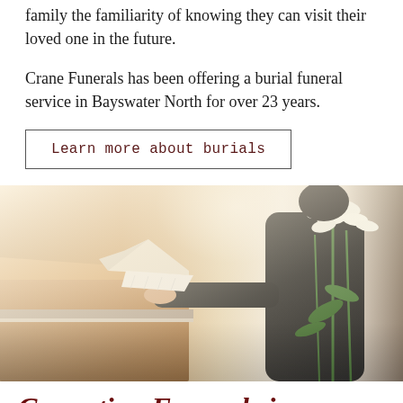family the familiarity of knowing they can visit their loved one in the future.
Crane Funerals has been offering a burial funeral service in Bayswater North for over 23 years.
Learn more about burials
[Figure (photo): A person dressed in black holding white lilies placing their hand on a casket in a funeral home setting. Warm lighting with a wooden casket visible on the left.]
Cremation Funerals in